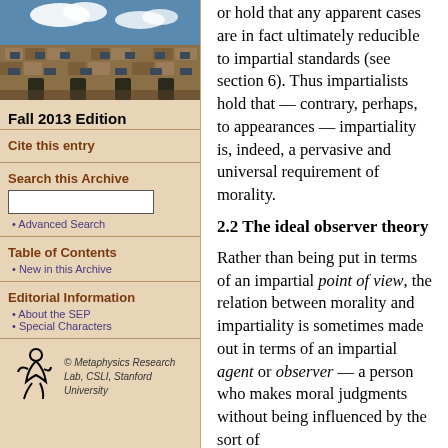[Figure (photo): Photo of a university building (stone architecture with courtyard), likely Oxford or similar, under a blue sky with clouds]
Fall 2013 Edition
Cite this entry
Search this Archive
Advanced Search
Table of Contents
New in this Archive
Editorial Information
About the SEP
Special Characters
[Figure (logo): Metaphysics Research Lab, CSLI, Stanford University logo with stylized figure]
© Metaphysics Research Lab, CSLI, Stanford University
or hold that any apparent cases are in fact ultimately reducible to impartial standards (see section 6). Thus impartialists hold that — contrary, perhaps, to appearances — impartiality is, indeed, a pervasive and universal requirement of morality.
2.2 The ideal observer theory
Rather than being put in terms of an impartial point of view, the relation between morality and impartiality is sometimes made out in terms of an impartial agent or observer — a person who makes moral judgments without being influenced by the sort of